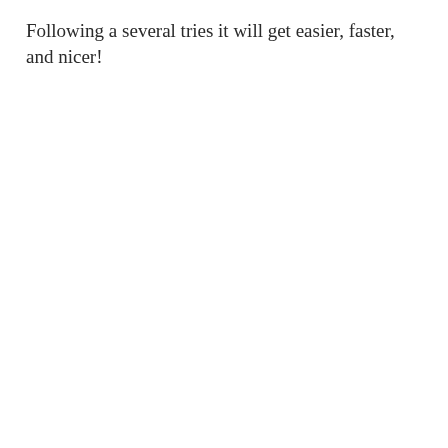Following a several tries it will get easier, faster, and nicer!